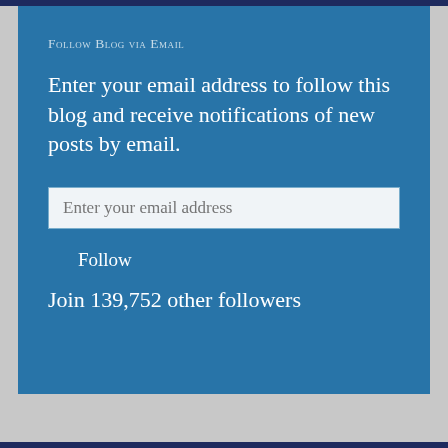Follow Blog via Email
Enter your email address to follow this blog and receive notifications of new posts by email.
Enter your email address
Follow
Join 139,752 other followers